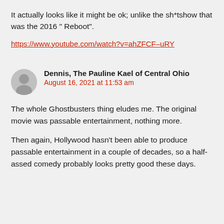It actually looks like it might be ok; unlike the sh*tshow that was the 2016 " Reboot".
https://www.youtube.com/watch?v=ahZFCF-uRY
Dennis, The Pauline Kael of Central Ohio
August 16, 2021 at 11:53 am
The whole Ghostbusters thing eludes me. The original movie was passable entertainment, nothing more.
Then again, Hollywood hasn't been able to produce passable entertainment in a couple of decades, so a half-assed comedy probably looks pretty good these days.